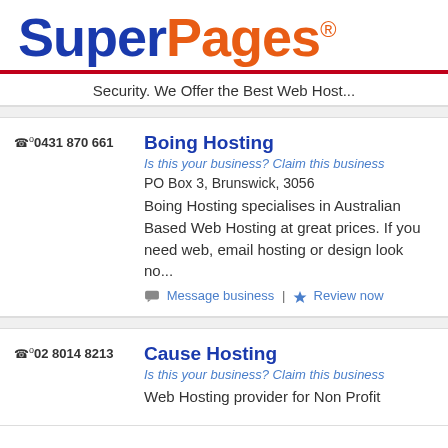[Figure (logo): SuperPages logo with 'Super' in dark blue bold and 'Pages' in orange bold, followed by registered trademark symbol]
Security. We Offer the Best Web Host...
0431 870 661 | Boing Hosting | Is this your business? Claim this business | PO Box 3, Brunswick, 3056 | Boing Hosting specialises in Australian Based Web Hosting at great prices. If you need web, email hosting or design look no... | Message business | Review now
02 8014 8213 | Cause Hosting | Is this your business? Claim this business | Web Hosting provider for Non Profit